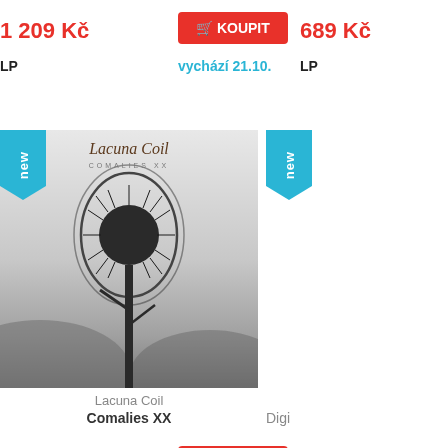1 209 Kč
KOUPIT
689 Kč
LP
vychází 21.10.
LP
[Figure (photo): Album cover for Lacuna Coil - Comalies XX, showing a thistle plant silhouette against a grey misty sky, with a 'new' badge in the top left corner]
Lacuna Coil
Comalies XX
Digi
929 Kč
KOUPIT
799 Kč
LP+CD
vychází 14.10.
LP